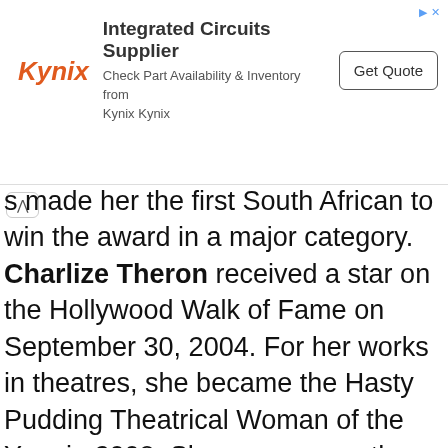[Figure (other): Kynix advertisement banner with logo, text 'Integrated Circuits Supplier', 'Check Part Availability & Inventory from Kynix Kynix', and 'Get Quote' button]
s made her the first South African to win the award in a major category. Charlize Theron received a star on the Hollywood Walk of Fame on September 30, 2004. For her works in theatres, she became the Hasty Pudding Theatrical Woman of the Year in 2008. She was among the 100 most influential people list in 2016 compiled by the Time Magazine.
Production Career
Charlize Theron went into production in 2006 releasing the documentary East of Havana. She